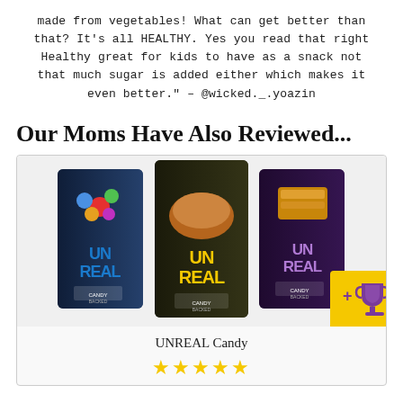made from vegetables! What can get better than that? It's all HEALTHY. Yes you read that right Healthy great for kids to have as a snack not that much sugar is added either which makes it even better." – @wicked._.yoazin
Our Moms Have Also Reviewed...
[Figure (photo): Three UNREAL Candy packages displayed side by side: left package is dark blue with colorful candy pieces and 'UNREAL' in blue text, center package is dark with a chocolate candy and 'UNREAL' in yellow text, right package is dark purple with a caramel candy and 'UNREAL' in purple text. Each labeled 'CANDY BACKED'. A gold badge with a trophy icon appears in the bottom-right corner.]
UNREAL Candy
★★★★★